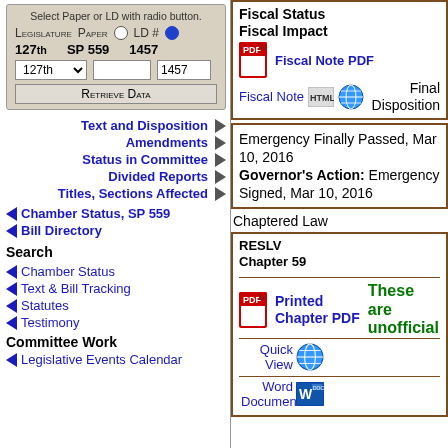Select Paper or LD with radio button.
Legislature Paper LD #
127th SP 559 1457
Retrieve Data
Text and Disposition ▶
Amendments ▶
Status in Committee ▶
Divided Reports ▶
Titles, Sections Affected ▶
◄ Chamber Status, SP 559
◄ Bill Directory
Search
◄ Chamber Status
◄ Text & Bill Tracking
◄ Statutes
◄ Testimony
Committee Work
◄ Legislative Events Calendar
Fiscal Status
Fiscal Impact
Fiscal Note PDF
Fiscal Note
Final Disposition
Emergency Finally Passed, Mar 10, 2016
Governor's Action: Emergency Signed, Mar 10, 2016
Chaptered Law
RESLV
Chapter 59
Printed Chapter PDF
Quick View
These are unofficial
Word Document